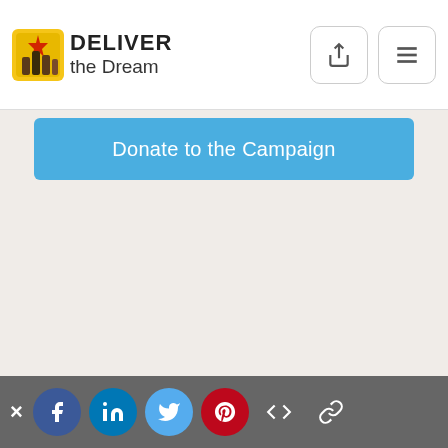[Figure (logo): Deliver the Dream logo with yellow figure icon and text]
Donate to the Campaign
[Figure (photo): Group of diverse young people lying in a circle looking up at camera, smiling]
Create Your Page
× f in t P </> 🔗